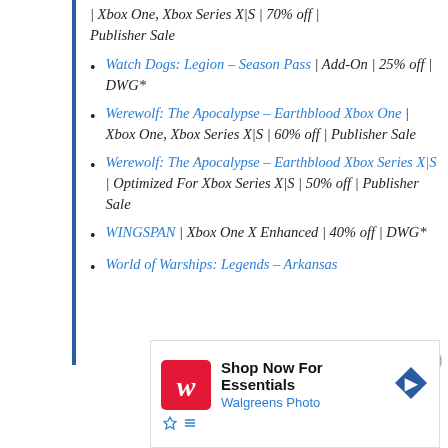| Xbox One, Xbox Series X|S | 70% off | Publisher Sale
Watch Dogs: Legion – Season Pass | Add-On | 25% off | DWG*
Werewolf: The Apocalypse – Earthblood Xbox One | Xbox One, Xbox Series X|S | 60% off | Publisher Sale
Werewolf: The Apocalypse – Earthblood Xbox Series X|S | Optimized For Xbox Series X|S | 50% off | Publisher Sale
WINGSPAN | Xbox One X Enhanced | 40% off | DWG*
World of Warships: Legends – Arkansas
[Figure (infographic): Walgreens Photo advertisement: Shop Now For Essentials with Walgreens Photo logo and navigation arrow icon]